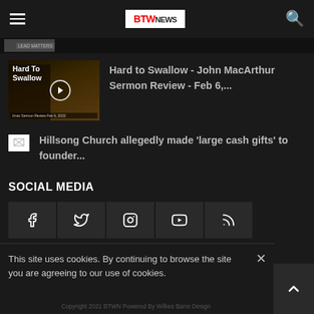BTW NEWS navigation bar with hamburger menu, logo, and search icon
[Figure (screenshot): Partial top article strip with thumbnail and label]
[Figure (photo): Video thumbnail for 'Hard to Swallow' John MacArthur sermon review with play button overlay]
Hard to Swallow - John MacArthur Sermon Review - Feb 6,...
[Figure (photo): Broken image thumbnail for Hillsong Church article]
Hillsong Church allegedly made 'large cash gifts' to founder...
SOCIAL MEDIA
[Figure (infographic): Social media icons row: Facebook, Twitter, Instagram, YouTube, RSS]
This site uses cookies. By continuing to browse the site you are agreeing to our use of cookies.
Copyright 2021 BTWN Powered By Wilkes Barre Design